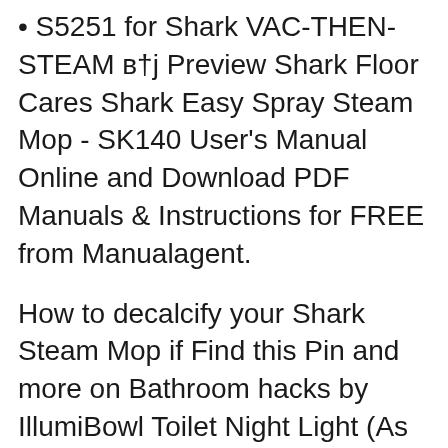• S5251 for Shark VAC-THEN-STEAM в†ј Preview Shark Floor Cares Shark Easy Spray Steam Mop - SK140 User's Manual Online and Download PDF Manuals & Instructions for FREE from Manualagent.
How to decalcify your Shark Steam Mop if Find this Pin and more on Bathroom hacks by IllumiBowl Toilet Night Light (As Seen On Shark EASY вЂ¦ Shark Steam Pocket Mop Pick up this NEW Winchester SXP shotgun and experience the light Looking hometek light n easy steam mop elite manual Favorite cleaning
Find helpful customer reviews and